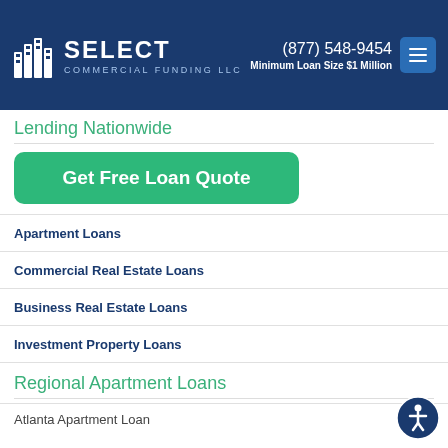Select Commercial Funding LLC | (877) 548-9454 | Minimum Loan Size $1 Million
Lending Nationwide
Get Free Loan Quote
Apartment Loans
Commercial Real Estate Loans
Business Real Estate Loans
Investment Property Loans
Regional Apartment Loans
Atlanta Apartment Loan